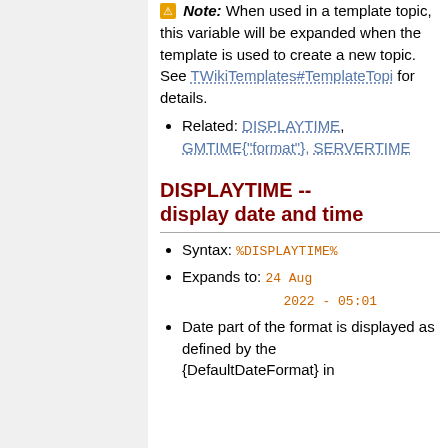⚠ Note: When used in a template topic, this variable will be expanded when the template is used to create a new topic. See TWikiTemplates#TemplateTopi for details.
Related: DISPLAYTIME, GMTIME{"format"}, SERVERTIME
DISPLAYTIME -- display date and time
Syntax: %DISPLAYTIME%
Expands to: 24 Aug 2022 - 05:01
Date part of the format is displayed as defined by the {DefaultDateFormat} in